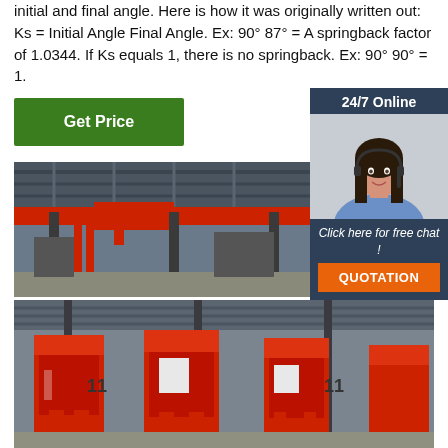initial and final angle. Here is how it was originally written out: Ks = Initial Angle Final Angle. Ex: 90° 87° = A springback factor of 1.0344. If Ks equals 1, there is no springback. Ex: 90° 90° = 1.
[Figure (other): Green 'Get Price' button]
[Figure (other): Dark blue sidebar with '24/7 Online' header, photo of woman with headset, italic text 'Click here for free chat!', orange QUOTATION button]
[Figure (photo): Industrial factory floor with red overhead crane and steel structure ceiling]
[Figure (photo): Factory floor showing large red industrial press brake machines]